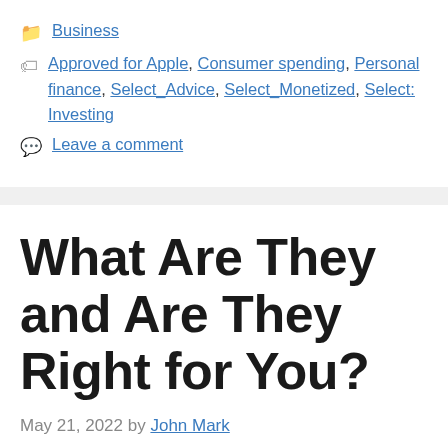📁 Business
🏷 Approved for Apple, Consumer spending, Personal finance, Select_Advice, Select_Monetized, Select: Investing
💬 Leave a comment
What Are They and Are They Right for You?
May 21, 2022 by John Mark